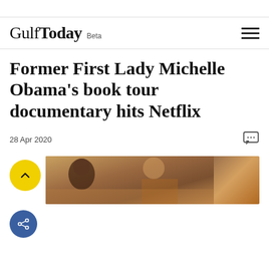Gulf Today Beta
Former First Lady Michelle Obama's book tour documentary hits Netflix
28 Apr 2020
[Figure (photo): Partial photo of Michelle Obama at a book tour event, showing audience and speaker in warm tones]